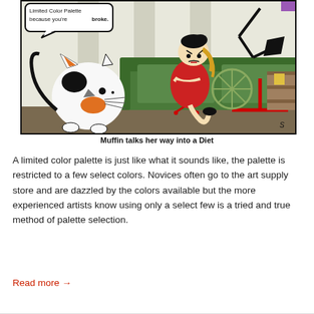[Figure (illustration): Comic strip illustration showing a cartoon cat (Muffin) and a woman sitting on a red chair. The woman has blonde hair and wears a red dress with arms crossed. A speech bubble reads 'Limited Color Palette because you're broke.' There is a green couch, a desk lamp, and shelving in the background.]
Muffin talks her way into a Diet
A limited color palette is just like what it sounds like, the palette is restricted to a few select colors. Novices often go to the art supply store and are dazzled by the colors available but the more experienced artists know using only a select few is a tried and true method of palette selection.
Read more →